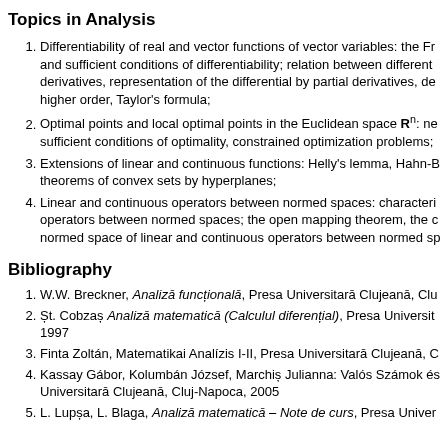Topics in Analysis
Differentiability of real and vector functions of vector variables: the Fr… and sufficient conditions of differentiability; relation between different… derivatives, representation of the differential by partial derivatives, de… higher order, Taylor’s formula;
Optimal points and local optimal points in the Euclidean space Rn: ne… sufficient conditions of optimality, constrained optimization problems;
Extensions of linear and continuous functions: Helly’s lemma, Hahn-B… theorems of convex sets by hyperplanes;
Linear and continuous operators between normed spaces: characteri… operators between normed spaces; the open mapping theorem, the c… normed space of linear and continuous operators between normed sp…
Bibliography
W.W. Breckner, Analizā funcţionalā, Presa Universitarā Clujeana, Clu…
şt. Cobzaş Analizā matematicā (Calculul diferenţial), Presa Universit… 1997
Finta Zoltán, Matematikai Analízis I-II, Presa Universitarā Clujeana, C…
Kassay Gábor, Kolumbán József, Marchiş Julianna: Valós Számok és… Universitarā Clujeana, Cluj-Napoca, 2005
L. Lupşa, L. Blaga, Analizā matematicā – Note de curs, Presa Univer…